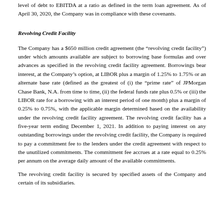level of debt to EBITDA at a ratio as defined in the term loan agreement. As of April 30, 2020, the Company was in compliance with these covenants.
Revolving Credit Facility
The Company has a $650 million credit agreement (the “revolving credit facility”) under which amounts available are subject to borrowing base formulas and over advances as specified in the revolving credit facility agreement. Borrowings bear interest, at the Company’s option, at LIBOR plus a margin of 1.25% to 1.75% or an alternate base rate (defined as the greatest of (i) the “prime rate” of JPMorgan Chase Bank, N.A. from time to time, (ii) the federal funds rate plus 0.5% or (iii) the LIBOR rate for a borrowing with an interest period of one month) plus a margin of 0.25% to 0.75%, with the applicable margin determined based on the availability under the revolving credit facility agreement. The revolving credit facility has a five-year term ending December 1, 2021. In addition to paying interest on any outstanding borrowings under the revolving credit facility, the Company is required to pay a commitment fee to the lenders under the credit agreement with respect to the unutilized commitments. The commitment fee accrues at a rate equal to 0.25% per annum on the average daily amount of the available commitments.
The revolving credit facility is secured by specified assets of the Company and certain of its subsidiaries.